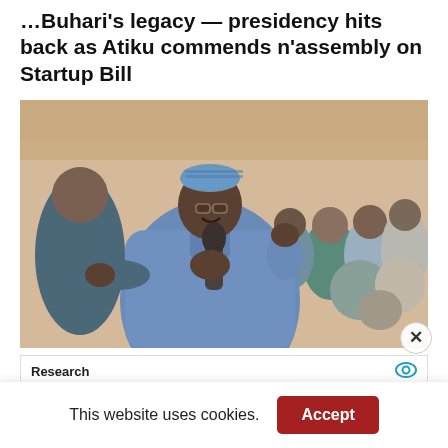...Buhari's legacy — presidency hits back as Atiku commends n'assembly on Startup Bill
[Figure (photo): A man in a blue traditional Nigerian outfit (agbada) and blue embroidered cap, speaking into a microphone and smiling, surrounded by a crowd of people in traditional attire]
Research
This website uses cookies.